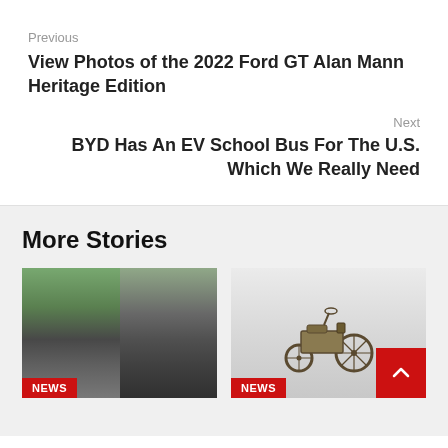Previous
View Photos of the 2022 Ford GT Alan Mann Heritage Edition
Next
BYD Has An EV School Bus For The U.S. Which We Really Need
More Stories
[Figure (photo): Two-panel photo: left shows a road accident scene with people standing near a damaged vehicle on a highway; right shows a close-up of a heavily damaged silver car front.]
News
[Figure (photo): Photo of an antique/vintage three-wheeled vehicle (early automobile or Benz Patent-Motorwagen) on a white background.]
News